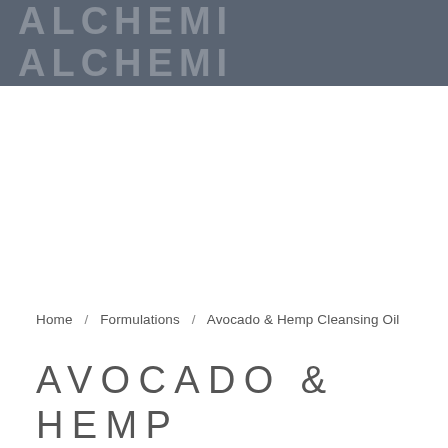ALCHEMI
Home / Formulations / Avocado & Hemp Cleansing Oil
AVOCADO & HEMP CLEANSING OIL